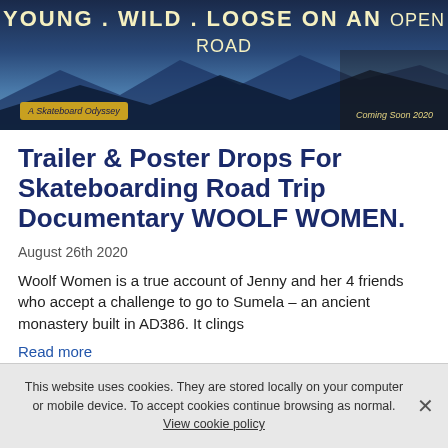[Figure (photo): Movie banner/poster for 'Woolf Women' documentary showing mountain scenery with text 'YOUNG . WILD . LOOSE ON AN OPEN ROAD', 'A Skateboard Odyssey' label bottom left, 'Coming Soon 2020' bottom right]
Trailer & Poster Drops For Skateboarding Road Trip Documentary WOOLF WOMEN.
August 26th 2020
Woolf Women is a true account of Jenny and her 4 friends who accept a challenge to go to Sumela – an ancient monastery built in AD386. It clings
Read more
This website uses cookies. They are stored locally on your computer or mobile device. To accept cookies continue browsing as normal. View cookie policy